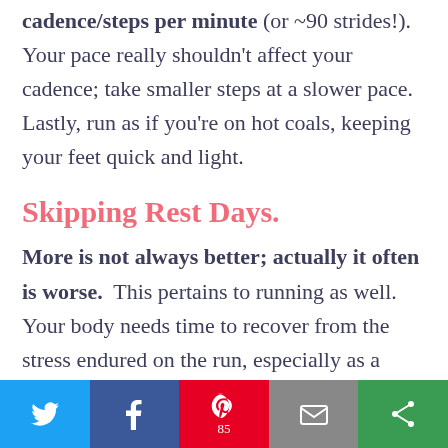cadence/steps per minute (or ~90 strides!). Your pace really shouldn't affect your cadence; take smaller steps at a slower pace. Lastly, run as if you're on hot coals, keeping your feet quick and light.
Skipping Rest Days.
More is not always better; actually it often is worse. This pertains to running as well. Your body needs time to recover from the stress endured on the run, especially as a beginner runner. As said above, be conservative initially
[Figure (other): Social sharing bar with Twitter, Facebook, Pinterest (85 saves), Email, and another share button]